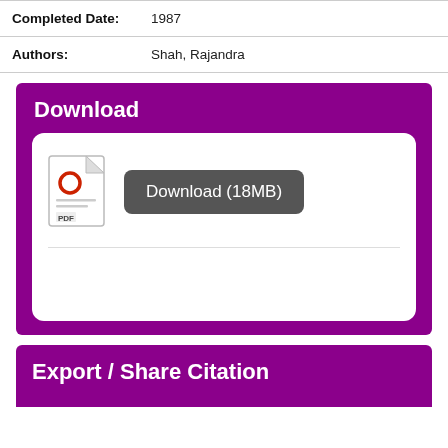| Field | Value |
| --- | --- |
| Completed Date: | 1987 |
| Authors: | Shah, Rajandra |
Download
[Figure (other): Purple Download box containing a white rounded inner panel with a PDF file icon and a dark grey 'Download (18MB)' button]
Export / Share Citation